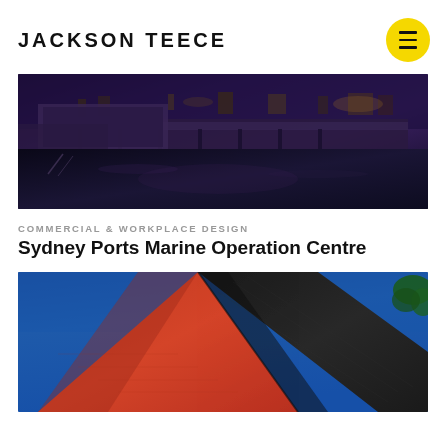JACKSON TEECE
[Figure (photo): Night-time photograph of Sydney Ports dock and waterfront area, showing illuminated marine infrastructure, boats moored at a pier, dark water reflecting purple-blue ambient light]
COMMERCIAL & WORKPLACE DESIGN
Sydney Ports Marine Operation Centre
[Figure (photo): Architectural exterior photograph of a building with striking angular geometry, featuring contrasting red-orange and dark charcoal/grey cladding panels forming a dramatic triangular facade against a deep blue sky, with a tree visible at the right edge]